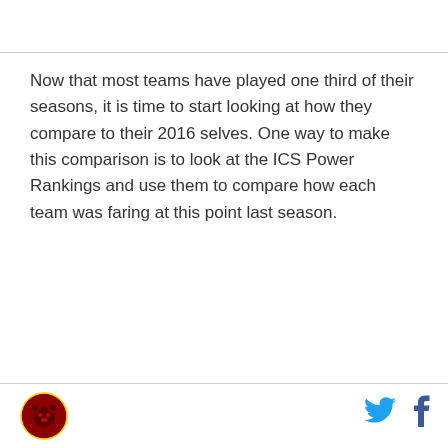Now that most teams have played one third of their seasons, it is time to start looking at how they compare to their 2016 selves. One way to make this comparison is to look at the ICS Power Rankings and use them to compare how each team was faring at this point last season.
[Figure (logo): Circular sports team logo with bear emblem, dark red and black colors]
[Figure (logo): Twitter bird icon in blue]
[Figure (logo): Facebook 'f' icon in dark blue]